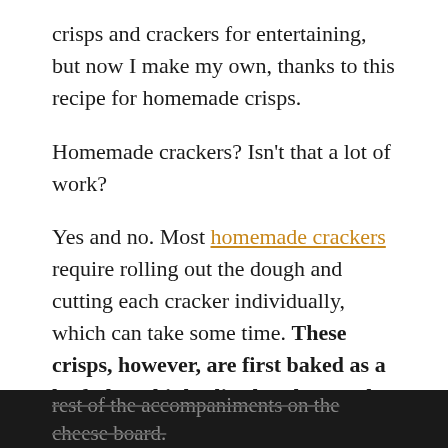crisps and crackers for entertaining, but now I make my own, thanks to this recipe for homemade crisps.
Homemade crackers? Isn't that a lot of work?
Yes and no. Most homemade crackers require rolling out the dough and cutting each cracker individually, which can take some time. These crisps, however, are first baked as a loaf, then thinly sliced and toasted – no rolling required. I'm certain even the novice baker could turn out a successful batch – and once you taste them, there's no going without!
These highly addicting fruit crisps are delicately flavored with buttermilk & honey, scented with fresh rosemary and contain just enough nuts & dried fruit to complement the
rest of the accompaniments on the cheese board.